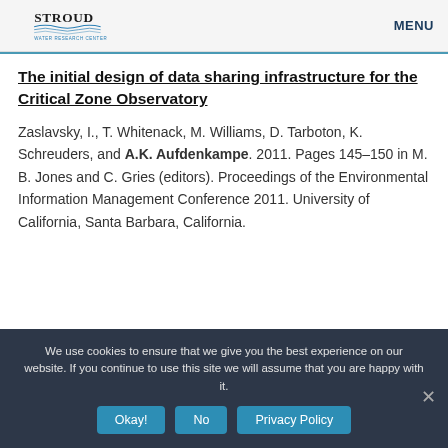Stroud Water Research Center | MENU
The initial design of data sharing infrastructure for the Critical Zone Observatory
Zaslavsky, I., T. Whitenack, M. Williams, D. Tarboton, K. Schreuders, and A.K. Aufdenkampe. 2011. Pages 145–150 in M. B. Jones and C. Gries (editors). Proceedings of the Environmental Information Management Conference 2011. University of California, Santa Barbara, California.
We use cookies to ensure that we give you the best experience on our website. If you continue to use this site we will assume that you are happy with it. Okay! No Privacy Policy